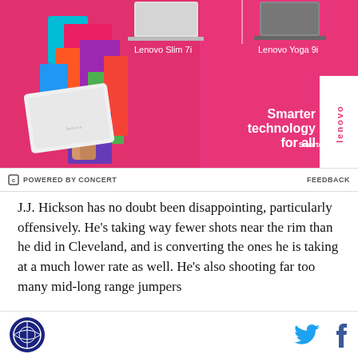[Figure (photo): Lenovo advertisement banner with pink background, person holding white laptop wearing colorful outfit. Shows Lenovo Slim 7i and Lenovo Yoga 9i laptops. Slogan: 'Smarter technology for all' with Lenovo logo.]
POWERED BY CONCERT   FEEDBACK
J.J. Hickson has no doubt been disappointing, particularly offensively. He's taking way fewer shots near the rim than he did in Cleveland, and is converting the ones he is taking at a much lower rate as well. He's also shooting far too many mid-long range jumpers